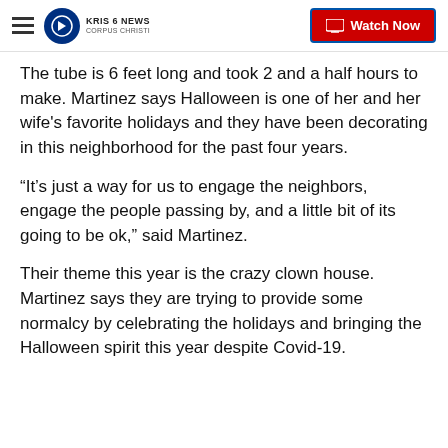KRIS 6 NEWS CORPUS CHRISTI — Watch Now
The tube is 6 feet long and took 2 and a half hours to make. Martinez says Halloween is one of her and her wife's favorite holidays and they have been decorating in this neighborhood for the past four years.
“It’s just a way for us to engage the neighbors, engage the people passing by, and a little bit of its going to be ok,” said Martinez.
Their theme this year is the crazy clown house. Martinez says they are trying to provide some normalcy by celebrating the holidays and bringing the Halloween spirit this year despite Covid-19.